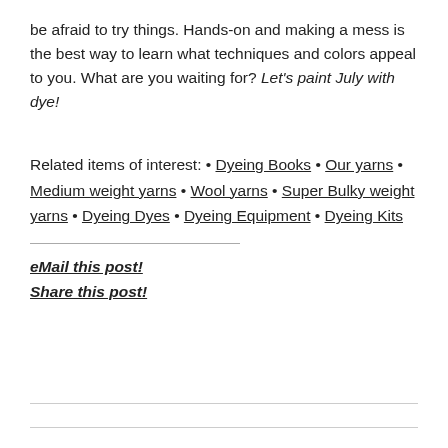be afraid to try things. Hands-on and making a mess is the best way to learn what techniques and colors appeal to you. What are you waiting for? Let's paint July with dye!
Related items of interest: • Dyeing Books • Our yarns • Medium weight yarns • Wool yarns • Super Bulky weight yarns • Dyeing Dyes • Dyeing Equipment • Dyeing Kits
eMail this post!
Share this post!